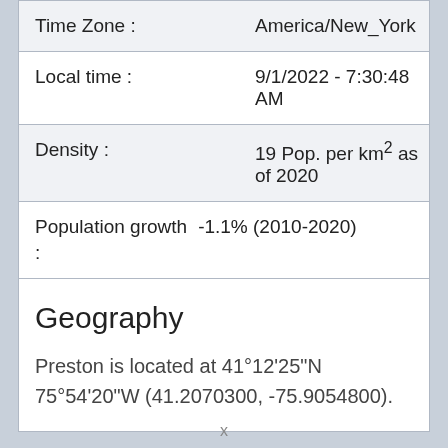| Field | Value |
| --- | --- |
| Time Zone : | America/New_York |
| Local time : | 9/1/2022 - 7:30:48 AM |
| Density : | 19 Pop. per km² as of 2020 |
| Population growth
: | -1.1% (2010-2020) |
Geography
Preston is located at 41°12'25"N 75°54'20"W (41.2070300, -75.9054800).